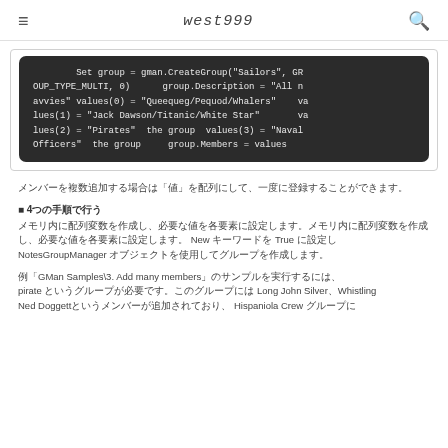west999
[Figure (screenshot): Code block on dark background showing VBScript/COM code: Set group = gman.CreateGroup("Sailors", GROUP_TYPE_MULTI, 0) group.Description = "All navvies" values(0) = "Queequeg/Pequod/Whalers" values(1) = "Jack Dawson/Titanic/White Star" values(2) = "Pirates" the group values(3) = "Naval Officers" the group group.Members = values]
メンバーを複数追加する場合は「値」を配列にして、一度に登録することができます。
■ 4つの手順で行う
メモリ内に配列変数を作成し、必要な値を各要素に設定します。NotesGroupManagerオブジェクトを作成する際にNewキーワードをTrueに設定します。NotesGroupManager オブジェクトを使用してグループを作成します。
例「GMan Samples\3. Add many members」のサンプルを実行するには、pirate というグループが必要です。このグループには Long John Silver、Whistling Ned Doggettというメンバーが追加されており、Hispaniola Crew グループに